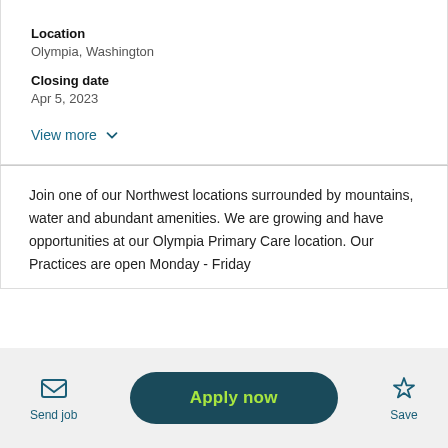Location
Olympia, Washington
Closing date
Apr 5, 2023
View more
Join one of our Northwest locations surrounded by mountains, water and abundant amenities. We are growing and have opportunities at our Olympia Primary Care location. Our Practices are open Monday - Friday
Send job
Apply now
Save